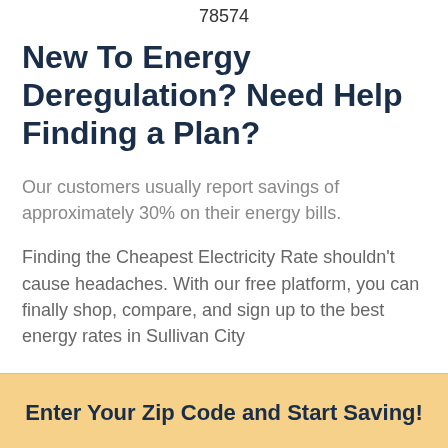78574
New To Energy Deregulation? Need Help Finding a Plan?
Our customers usually report savings of approximately 30% on their energy bills.
Finding the Cheapest Electricity Rate shouldn't cause headaches. With our free platform, you can finally shop, compare, and sign up to the best energy rates in Sullivan City
Enter Your Zip Code and Start Saving!